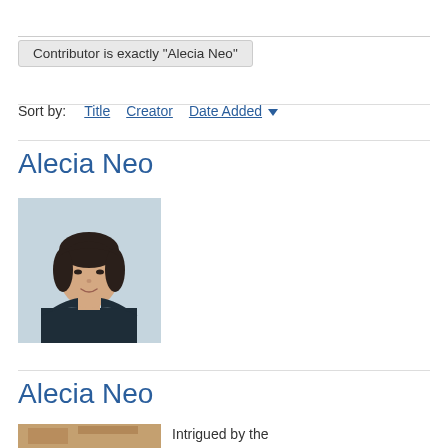Contributor is exactly "Alecia Neo"
Sort by:  Title  Creator  Date Added ▾
Alecia Neo
[Figure (photo): Portrait photo of Alecia Neo, a woman with dark hair wearing a black sleeveless top, against a light blue-grey background.]
Alecia Neo
[Figure (photo): Partial photo (bottom cropped), appears to show artwork or textured surface in warm brown tones.]
Intrigued by the fundamental elements of